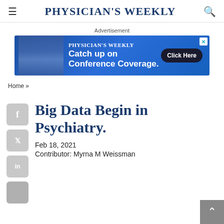Physician's Weekly
Advertisement
[Figure (screenshot): Advertisement banner for Physician's Weekly conference coverage with blue background, showing text 'Catch up on Conference Coverage. Click Here']
Home »
Big Data Begin in Psychiatry.
Feb 18, 2021
Contributor: Myrna M Weissman